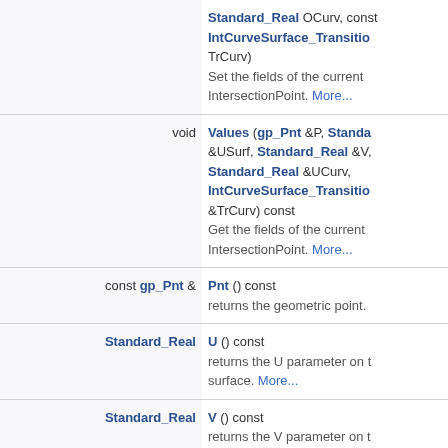| Return Type | Function/Description |
| --- | --- |
|  | Standard_Real OCurv, const IntCurveSurface_TransitionOnCurve TrCurv)
Set the fields of the current IntersectionPoint. More... |
| void | Values (gp_Pnt &P, Standard_Real &USurf, Standard_Real &V, Standard_Real &UCurv, IntCurveSurface_TransitionOnCurve &TrCurv) const
Get the fields of the current IntersectionPoint. More... |
| const gp_Pnt & | Pnt () const
returns the geometric point. |
| Standard_Real | U () const
returns the U parameter on the surface. More... |
| Standard_Real | V () const
returns the V parameter on the surface. More... |